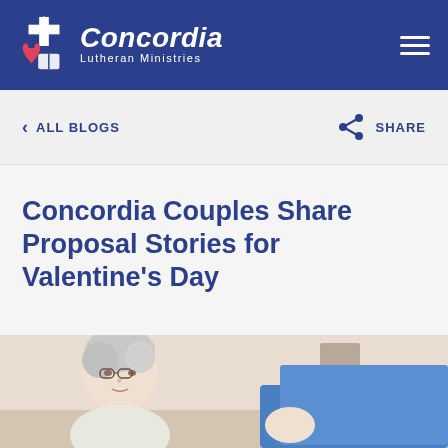Concordia Lutheran Ministries
< ALL BLOGS    SHARE
Concordia Couples Share Proposal Stories for Valentine's Day
[Figure (photo): An elderly woman with white/gray hair and glasses, wearing a light-colored top, seated in a room with a blue fabric or blanket visible to the right.]